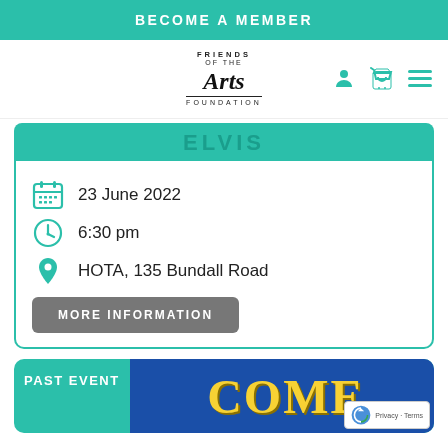BECOME A MEMBER
[Figure (logo): Friends of the Arts Foundation logo with script Arts lettering]
ELVIS
23 June 2022
6:30 pm
HOTA, 135 Bundall Road
MORE INFORMATION
PAST EVENT
[Figure (photo): Partially visible image showing yellow letters spelling COME on a blue background]